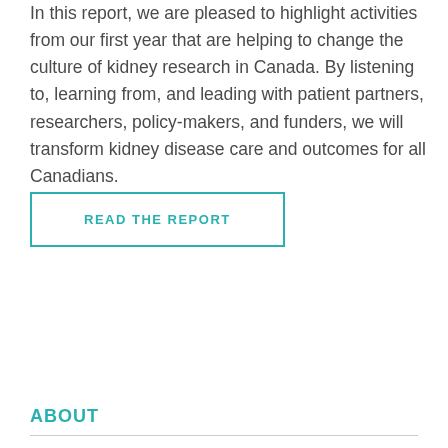In this report, we are pleased to highlight activities from our first year that are helping to change the culture of kidney research in Canada. By listening to, learning from, and leading with patient partners, researchers, policy-makers, and funders, we will transform kidney disease care and outcomes for all Canadians.
READ THE REPORT
ABOUT